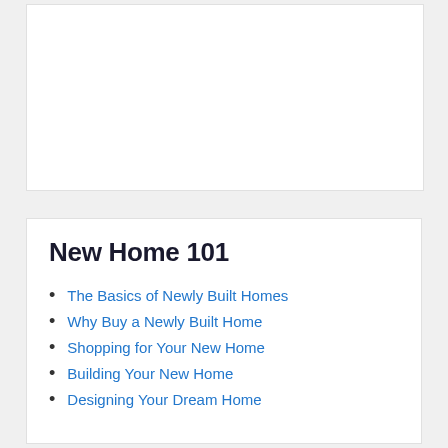New Home 101
The Basics of Newly Built Homes
Why Buy a Newly Built Home
Shopping for Your New Home
Building Your New Home
Designing Your Dream Home